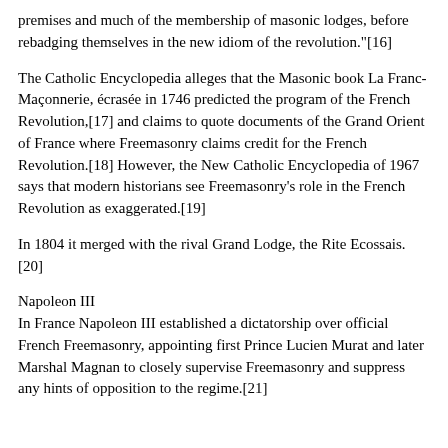premises and much of the membership of masonic lodges, before rebadging themselves in the new idiom of the revolution."[16]
The Catholic Encyclopedia alleges that the Masonic book La Franc-Maçonnerie, écrasée in 1746 predicted the program of the French Revolution,[17] and claims to quote documents of the Grand Orient of France where Freemasonry claims credit for the French Revolution.[18] However, the New Catholic Encyclopedia of 1967 says that modern historians see Freemasonry's role in the French Revolution as exaggerated.[19]
In 1804 it merged with the rival Grand Lodge, the Rite Ecossais.[20]
Napoleon III
In France Napoleon III established a dictatorship over official French Freemasonry, appointing first Prince Lucien Murat and later Marshal Magnan to closely supervise Freemasonry and suppress any hints of opposition to the regime.[21]